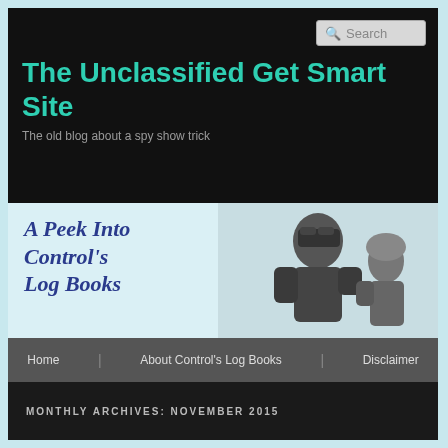Search
The Unclassified Get Smart Site
The old blog about a spy show trick
[Figure (illustration): Banner image showing text 'A Peek Into Control's Log Books' in italic dark blue serif font on light blue background, with a black-and-white photo of two people — a man looking through binoculars and a woman beside him]
Home   About Control's Log Books   Disclaimer
MONTHLY ARCHIVES: NOVEMBER 2015